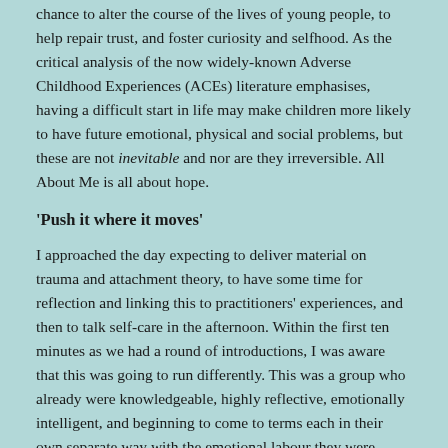chance to alter the course of the lives of young people, to help repair trust, and foster curiosity and selfhood. As the critical analysis of the now widely-known Adverse Childhood Experiences (ACEs) literature emphasises, having a difficult start in life may make children more likely to have future emotional, physical and social problems, but these are not inevitable and nor are they irreversible. All About Me is all about hope.
'Push it where it moves'
I approached the day expecting to deliver material on trauma and attachment theory, to have some time for reflection and linking this to practitioners' experiences, and then to talk self-care in the afternoon. Within the first ten minutes as we had a round of introductions, I was aware that this was going to run differently. This was a group who already were knowledgeable, highly reflective, emotionally intelligent, and beginning to come to terms each in their own separate way with the emotional labour they were doing. The feeling in the room was that the day needed to